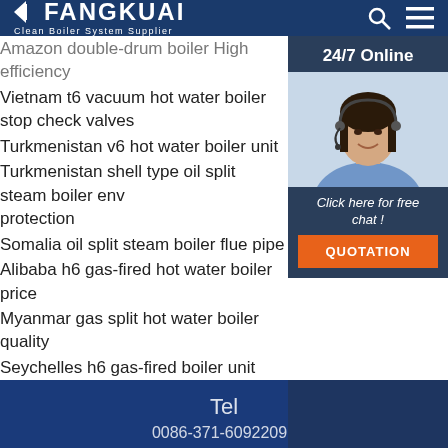[Figure (logo): Fangkuai logo with triangle arrow, text FANGKUAI and tagline Clean Boiler System Supplier]
Amazon double-drum boiler High efficiency
Vietnam t6 vacuum hot water boiler stop check valves
Turkmenistan v6 hot water boiler unit
Turkmenistan shell type oil split steam boiler env protection
Somalia oil split steam boiler flue pipe
Alibaba h6 gas-fired hot water boiler price
Myanmar gas split hot water boiler quality
Seychelles h6 gas-fired boiler unit
[Figure (infographic): 24/7 Online chat widget with agent photo, Click here for free chat text, and QUOTATION button]
Tel
0086-371-60922096
Contact
Manager Guo
Phone
+86 15515862005